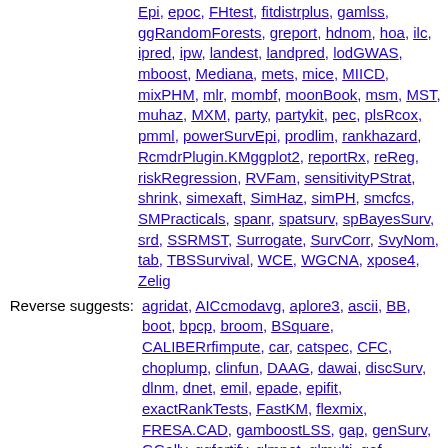Epi, epoc, FHtest, fitdistrplus, gamlss, ggRandomForests, greport, hdnom, hoa, ilc, ipred, ipw, landest, landpred, lodGWAS, mboost, Mediana, mets, mice, MIICD, mixPHM, mlr, mombf, moonBook, msm, MST, muhaz, MXM, party, partykit, pec, plsRcox, pmml, powerSurvEpi, prodlim, rankhazard, RcmdrPlugin.KMggplot2, reportRx, reReg, riskRegression, RVFam, sensitivityPStrat, shrink, simexaft, SimHaz, simPH, smcfcs, SMPracticals, spanr, spatsurv, spBayesSurv, srd, SSRMST, Surrogate, SurvCorr, SvyNom, tab, TBSSurvival, WCE, WGCNA, xpose4, Zelig
Reverse suggests: agridat, AICcmodavg, aplore3, ascii, BB, boot, bpcp, broom, BSquare, CALIBERrfimpute, car, catspec, CFC, choplump, clinfun, DAAG, dawai, discSurv, dlnm, dnet, emil, epade, epifit, exactRankTests, FastKM, flexmix, FRESA.CAD, gamboostLSS, gap, genSurv, GGally, ggfortify, glmnet, glmulti, gof, grImport, HSAUR, HSAUR2, HSAUR3, HydeNet, ISwR, itree, kyotil, lava, lmtest, LogrankA, lsmeans, lss, MASS, maxstat, mc2d, mediation, metafor, MetaQC, mgcv,